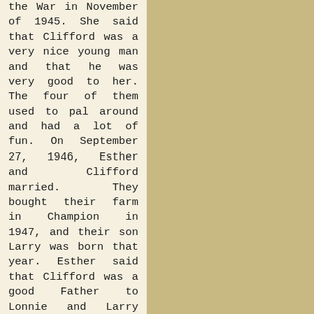the War in November of 1945. She said that Clifford was a very nice young man and that he was very good to her. The four of them used to pal around and had a lot of fun. On September 27, 1946, Esther and Clifford married. They bought their farm in Champion in 1947, and their son Larry was born that year. Esther said that Clifford was a good Father to Lonnie and Larry and she says "I